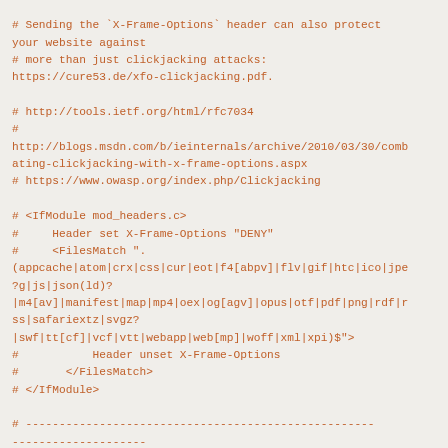# Sending the `X-Frame-Options` header can also protect your website against
# more than just clickjacking attacks:
https://cure53.de/xfo-clickjacking.pdf.

# http://tools.ietf.org/html/rfc7034
#
http://blogs.msdn.com/b/ieinternals/archive/2010/03/30/combating-clickjacking-with-x-frame-options.aspx
# https://www.owasp.org/index.php/Clickjacking

# <IfModule mod_headers.c>
#     Header set X-Frame-Options "DENY"
#     <FilesMatch ".(appcache|atom|crx|css|cur|eot|f4[abpv]|flv|gif|htc|ico|jpe?g|js|json(ld)?|m4[av]|manifest|map|mp4|oex|og[agv]|opus|otf|pdf|png|rdf|rss|safariextz|svgz?|swf|tt[cf]|vcf|vtt|webapp|web[mp]|woff|xml|xpi)$">
#           Header unset X-Frame-Options
#       </FilesMatch>
# </IfModule>

# ----------------------------------------------------------------------------------------------------------------------------
# | Content Security Policy (CSP)
|